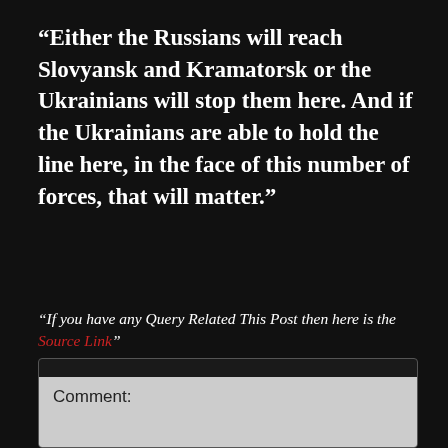“Either the Russians will reach Slovyansk and Kramatorsk or the Ukrainians will stop them here. And if the Ukrainians are able to hold the line here, in the face of this number of forces, that will matter.”
“If you have any Query Related This Post then here is the Source Link”
Comment: